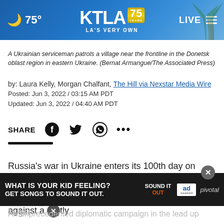[Figure (screenshot): KTLA 75 Years LA's Very Own website header bar with moon icon, 75° temperature, KTLA logo with 75 years badge, LIVE label, and hamburger menu]
A Ukrainian serviceman patrols a village near the frontline in the Donetsk oblast region in eastern Ukraine. (Bernat Armangue/The Associated Press)
by: Laura Kelly, Morgan Chalfant, The Hill via Nexstar Media Wire
Posted: Jun 3, 2022 / 03:15 AM PDT
Updated: Jun 3, 2022 / 04:40 AM PDT
SHARE [Facebook] [Twitter] [WhatsApp] [more]
Russia's war in Ukraine enters its 100th day on Friday, a bloody milestone that serves as a testament to the resilience of the Ukrainian forces against a vastly larger
[Figure (screenshot): Advertisement banner: 'WHAT IS YOUR KID FEELING? GET SONGS TO SOUND IT OUT.' with Sound It Out logo, Ad Council and Pivotal logos]
An unprecedented diplomatic campaign in the lead up